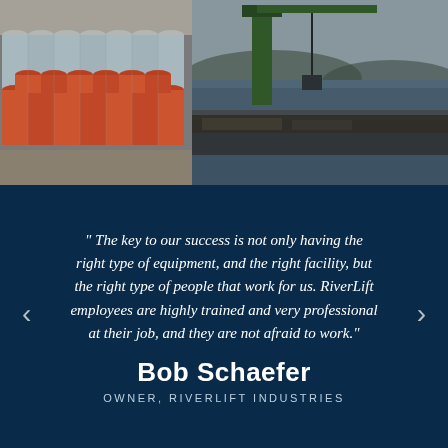[Figure (photo): Two side-by-side industrial photos: left shows stacked steel/orange pipes on a yard; right shows a barge with crane equipment on a river at dusk]
" The key to our success is not only having the right type of equipment, and the right facility, but the right type of people that work for us. RiverLift employees are highly trained and very professional at their job, and they are not afraid to work."
Bob Schaefer
OWNER, RIVERLIFT INDUSTRIES